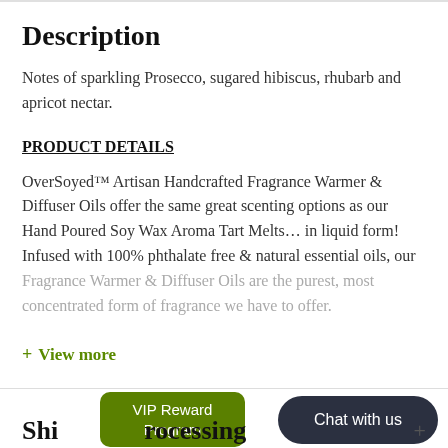Description
Notes of sparkling Prosecco, sugared hibiscus, rhubarb and apricot nectar.
PRODUCT DETAILS
OverSoyed™ Artisan Handcrafted Fragrance Warmer & Diffuser Oils offer the same great scenting options as our Hand Poured Soy Wax Aroma Tart Melts… in liquid form! Infused with 100% phthalate free & natural essential oils, our Fragrance Warmer & Diffuser Oils are the purest, most concentrated form of fragrance we have to offer.
+ View more
VIP Reward Program
Chat with us
Shi…rocessing